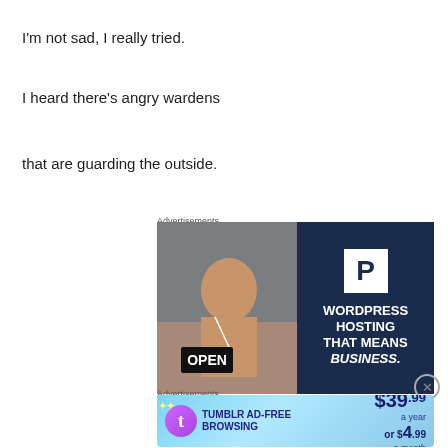I'm not sad, I really tried.
I heard there's angry wardens
that are guarding the outside.
Advertisements
[Figure (photo): WordPress hosting advertisement: left half shows a smiling woman holding an OPEN sign in a shop window; right half is dark navy with a white P-shaped logo and bold text 'WORDPRESS HOSTING THAT MEANS BUSINESS.']
Advertisements
[Figure (infographic): Tumblr Ad-Free Browsing advertisement: blue gradient background with Tumblr logo, text 'TUMBLR AD-FREE BROWSING', price '$39.99 a year or $4.99 a month']